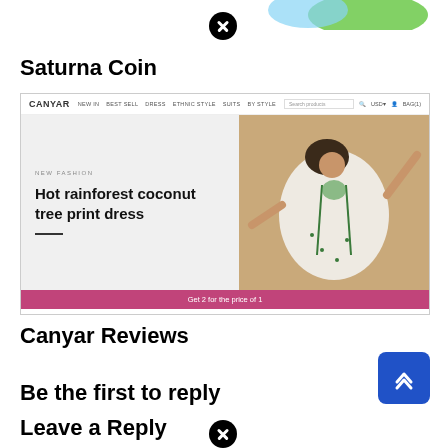[Figure (other): Partial decorative image/logo visible at top of page]
[Figure (other): Close button (X circle) near top center]
Saturna Coin
[Figure (screenshot): Screenshot of Canyar fashion e-commerce website showing navigation bar with links (NEW IN, BEST SELL, DRESS, ETHNIC STYLE, SUITS, BY STYLE), hero banner with text 'NEW FASHION / Hot rainforest coconut tree print dress' and a woman in white ethnic dress lying on sandy surface, and a pink promo bar reading 'Get 2 for the price of 1']
Canyar Reviews
Be the first to reply
Leave a Reply
[Figure (other): Close button (X circle) bottom center]